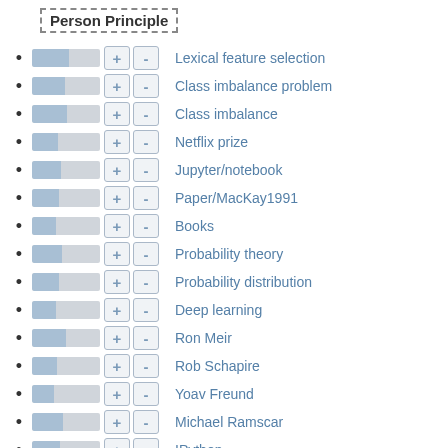Person Principle
Lexical feature selection
Class imbalance problem
Class imbalance
Netflix prize
Jupyter/notebook
Paper/MacKay1991
Books
Probability theory
Probability distribution
Deep learning
Ron Meir
Rob Schapire
Yoav Freund
Michael Ramscar
IPython
Gradient descent